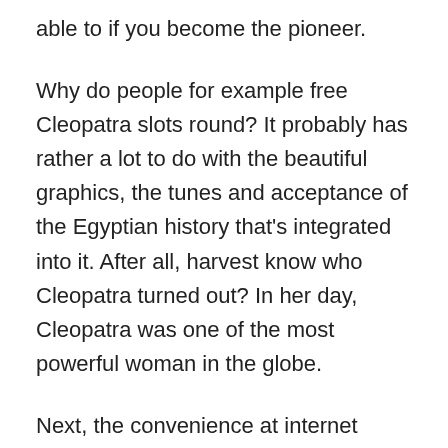able to if you become the pioneer.
Why do people for example free Cleopatra slots round? It probably has rather a lot to do with the beautiful graphics, the tunes and acceptance of the Egyptian history that's integrated into it. After all, harvest know who Cleopatra turned out? In her day, Cleopatra was one of the most powerful woman in the globe.
Next, the convenience at internet casinos is a fantasy. Just imagine getting up from bed, wearing your pajamas and taking some spins in the online slot game with real finances. You could win progressive jackpots that are typically the millions from the comfort of your house. This brings another point that the progressive slot machine games in land based